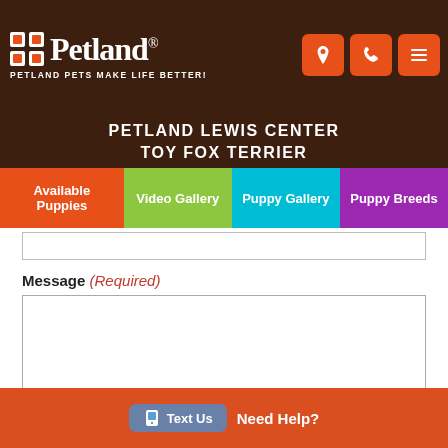Petland — PETLAND LEWIS CENTER TOY FOX TERRIER
PETLAND LEWIS CENTER
TOY FOX TERRIER
Available Puppies | Video Gallery | Puppy Gallery | Puppy Breeds
Message (Required)
Puppy Information and Coupons
Text Us
Need Help?